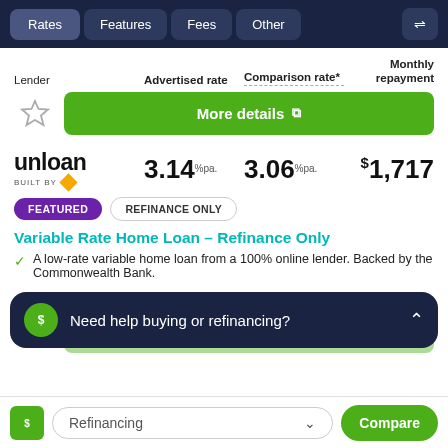Rates | Features | Fees | Other
| Lender | Advertised rate | Comparison rate* | Monthly repayment |
| --- | --- | --- | --- |
| unloan (built by Commonwealth Bank) | 3.14% pa. | 3.06% pa. | $1,717 |
FEATURED | REFINANCE ONLY
Variable Rate Home Loan – Refinance Only
A low-rate variable home loan from a 100% online lender. Backed by the Commonwealth Bank.
Need help buying or refinancing?
Refinancing | Compare